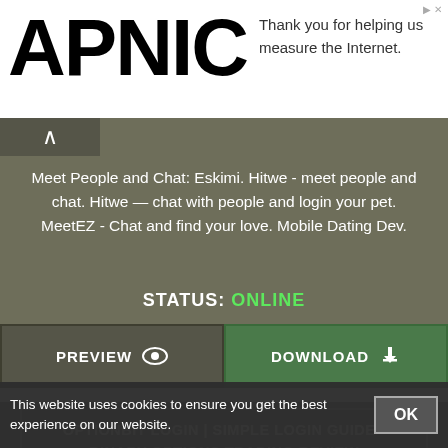APNIC — Thank you for helping us measure the Internet.
Meet People and Chat: Eskimi. Hitwe - meet people and chat. Hitwe — chat with people and login your pet. MeetEZ - Chat and find your love. Mobile Dating Dev.

STATUS: ONLINE
PREVIEW   DOWNLOAD
OPTIONBIT LOGIN | SIMPLE LOGIN GUIDE - BINARY OPTIONS TRADING REVIEW
https://binaryoptionstrading-review.com/optionbit-login/
24 May 2016 ... This article will help you understand how your
This website uses cookies to ensure you get the best experience on our website.